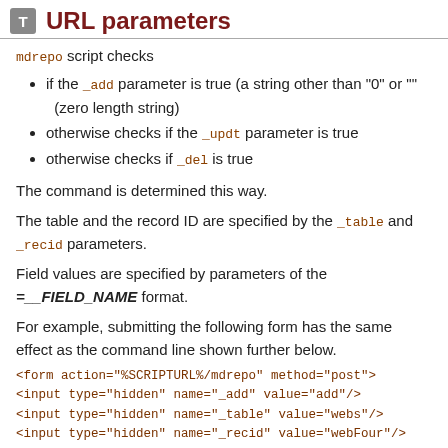URL parameters
mdrepo script checks
if the _add parameter is true (a string other than "0" or "" (zero length string)
otherwise checks if the _updt parameter is true
otherwise checks if _del is true
The command is determined this way.
The table and the record ID are specified by the _table and _recid parameters.
Field values are specified by parameters of the =__FIELD_NAME format.
For example, submitting the following form has the same effect as the command line shown further below.
<form action="%SCRIPTURL%/mdrepo" method="post">
<input type="hidden" name="_add" value="add"/>
<input type="hidden" name="_table" value="webs"/>
<input type="hidden" name="_recid" value="webFour"/>
<input type="hidden" name="__admin" value="GardnerGroup"/